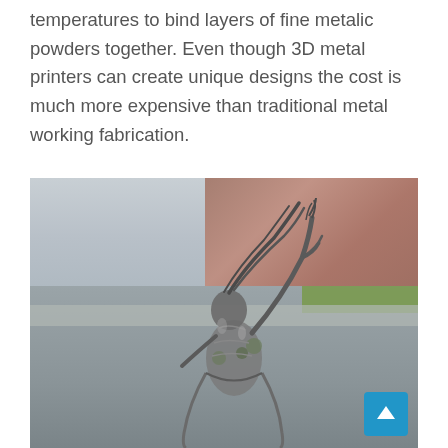temperatures to bind layers of fine metalic powders together. Even though 3D metal printers can create unique designs the cost is much more expensive than traditional metal working fabrication.
[Figure (photo): A metallic sculpture of a dynamic human figure with arms raised, photographed outdoors on a street with a brick wall and road in the background. The sculpture appears to be made of intricate metal pieces forming a flowing, expressive form.]